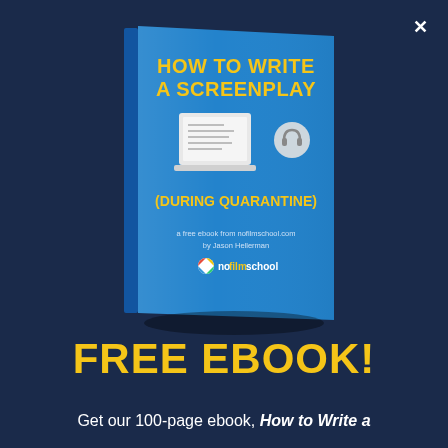[Figure (illustration): 3D book cover titled 'HOW TO WRITE A SCREENPLAY (DURING QUARANTINE)' with a laptop illustration, authored by Jason Hellerman, published by nofilmschool.com, shown in perspective with blue cover and yellow title text]
FREE EBOOK!
Get our 100-page ebook, How to Write a